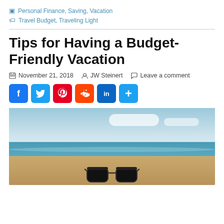Personal Finance, Saving, Vacation
Travel Budget, Traveling Light
Tips for Having a Budget-Friendly Vacation
November 21, 2018  JW Steinert  Leave a comment
[Figure (other): Social share buttons: Facebook, Twitter, Pinterest, Reddit, LinkedIn, More]
[Figure (photo): Beach scene with blue sky, ocean, sand, and sunglasses in the foreground]